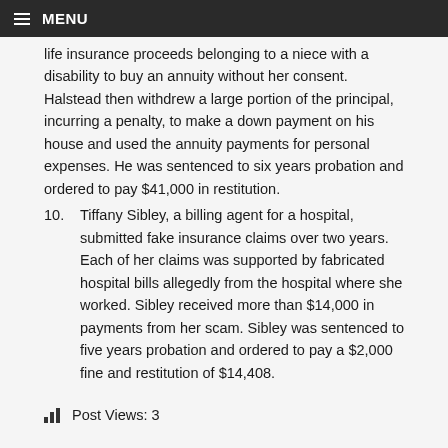≡ MENU
life insurance proceeds belonging to a niece with a disability to buy an annuity without her consent. Halstead then withdrew a large portion of the principal, incurring a penalty, to make a down payment on his house and used the annuity payments for personal expenses. He was sentenced to six years probation and ordered to pay $41,000 in restitution.
10. Tiffany Sibley, a billing agent for a hospital, submitted fake insurance claims over two years. Each of her claims was supported by fabricated hospital bills allegedly from the hospital where she worked. Sibley received more than $14,000 in payments from her scam. Sibley was sentenced to five years probation and ordered to pay a $2,000 fine and restitution of $14,408.
Post Views: 3
Filed Under: Latest News